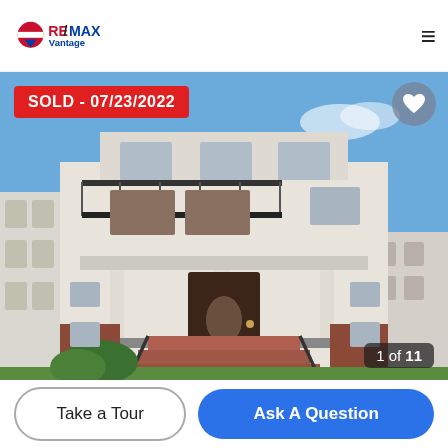[Figure (logo): RE/MAX Vantage logo with red, white and blue balloon icon]
[Figure (photo): Exterior photo of a two-story colonial-style house with front porch, columns, brick steps, balcony on second floor, blue sky background. SOLD badge showing 07/23/2022 in upper left. Heart/favorite button in upper right. Counter showing 1 of 11 in lower right.]
Take a Tour
Ask A Question